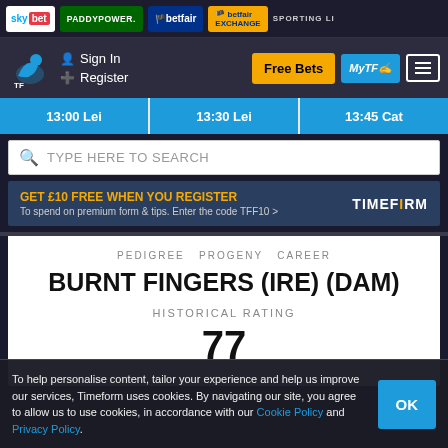[Figure (screenshot): Sponsor logos bar: Sky Bet, Paddy Power, Betfair, Betfair Exchange, Sporting Life]
Sign In | Register | Free Bets | MyTF | Menu
13:00 Lei | 13:30 Lei | 13:45 Cat
TYPE HERE TO SEARCH
GET £10 FREE WHEN YOU REGISTER
To spend on premium form & tips. Enter the code TFF10 > TIMEFORM
BURNT FINGERS (IRE) (DAM)
PEDIGREE PROGENY CAREER
HISTORICAL RATING
77
To help personalise content, tailor your experience and help us improve our services, Timeform uses cookies. By navigating our site, you agree to allow us to use cookies, in accordance with our Cookie Policy and Privacy Policy.